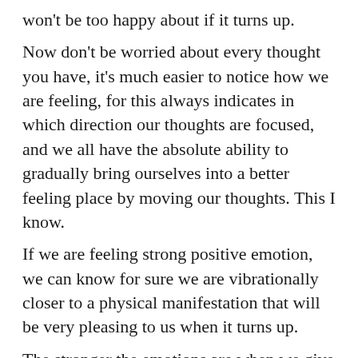won't be too happy about if it turns up.
Now don't be worried about every thought you have, it's much easier to notice how we are feeling, for this always indicates in which direction our thoughts are focused, and we all have the absolute ability to gradually bring ourselves into a better feeling place by moving our thoughts. This I know.
If we are feeling strong positive emotion, we can know for sure we are vibrationally closer to a physical manifestation that will be very pleasing to us when it turns up.
The stronger the emotions are when we give thought to something, the closer we are to a physical manifestation, whether they are positive or negative.
When we have achieved complete vibrational alignment with our desire, the vibrational signal of what we are emitting and what we are wanting, are now the same, and